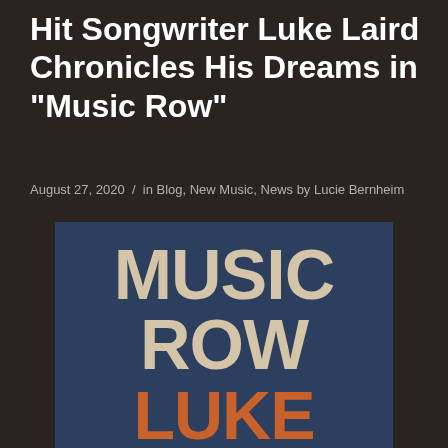Hit Songwriter Luke Laird Chronicles His Dreams in “Music Row”
August 27, 2020 / in Blog, New Music, News by Lucie Bernheim
[Figure (illustration): Album cover for 'Music Row' by Luke Laird. Dark blue square background with large text: 'MUSIC ROW' in beige/tan at top, 'LUKE LAIRD' in orange at bottom.]